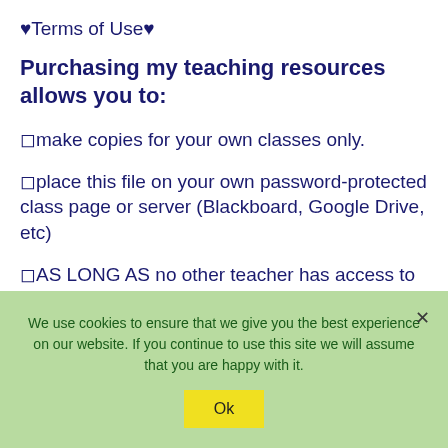♥Terms of Use♥
Purchasing my teaching resources allows you to:
✓make copies for your own classes only.
✓place this file on your own password-protected class page or server (Blackboard, Google Drive, etc)
✓AS LONG AS no other teacher has access to
We use cookies to ensure that we give you the best experience on our website. If you continue to use this site we will assume that you are happy with it.
Ok